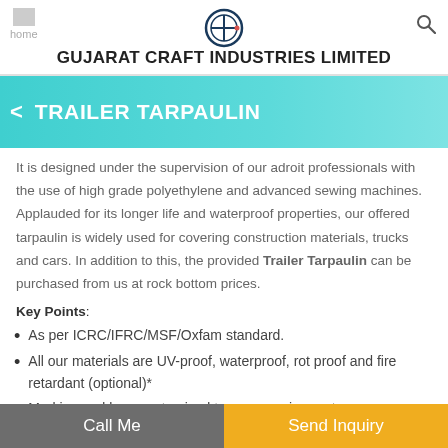GUJARAT CRAFT INDUSTRIES LIMITED
TRAILER TARPAULIN
It is designed under the supervision of our adroit professionals with the use of high grade polyethylene and advanced sewing machines. Applauded for its longer life and waterproof properties, our offered tarpaulin is widely used for covering construction materials, trucks and cars. In addition to this, the provided Trailer Tarpaulin can be purchased from us at rock bottom prices.
Key Points:
As per ICRC/IFRC/MSF/Oxfam standard.
All our materials are UV-proof, waterproof, rot proof and fire retardant (optional)*
Marking and logo customized to your requirements.
Call Me | Send Inquiry